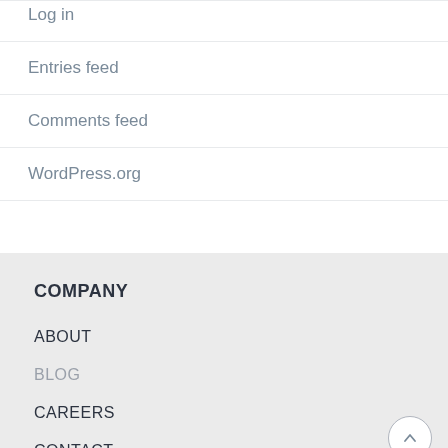Log in
Entries feed
Comments feed
WordPress.org
COMPANY
ABOUT
BLOG
CAREERS
CONTACT